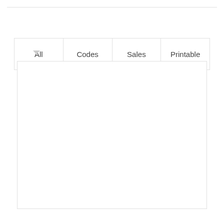| All | Codes | Sales | Printable |
| --- | --- | --- | --- |
[Figure (other): Empty white content area below tab navigation]